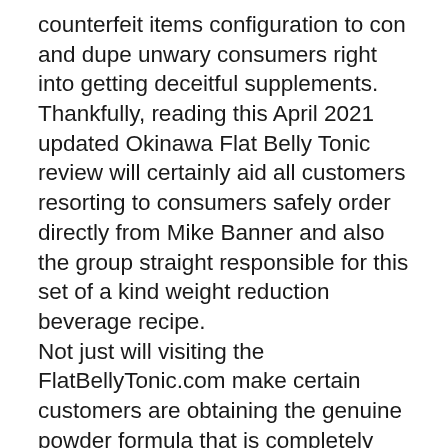counterfeit items configuration to con and dupe unwary consumers right into getting deceitful supplements. Thankfully, reading this April 2021 updated Okinawa Flat Belly Tonic review will certainly aid all customers resorting to consumers safely order directly from Mike Banner and also the group straight responsible for this set of a kind weight reduction beverage recipe. Not just will visiting the FlatBellyTonic.com make certain customers are obtaining the genuine powder formula that is completely safe to take that is made and evaluated in an FDA accepted and also GMP (Good Manufacturing Practices) facility for purity and strength, yet it will certainly also ensure the money back refund policy is undamaged for the following 3 months after the original